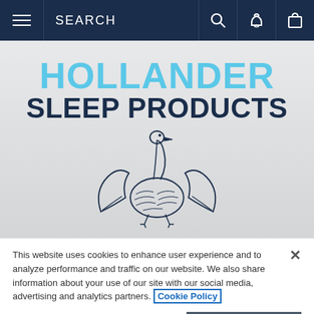SEARCH
[Figure (logo): Hollander Sleep Products logo with text 'HOLLANDER SLEEP PRODUCTS' in blue and dark navy, and a goose/swan held in cupped hands illustration below]
This website uses cookies to enhance user experience and to analyze performance and traffic on our website. We also share information about your use of our site with our social media, advertising and analytics partners. Cookie Policy
Cookies Settings
Accept All Cookies